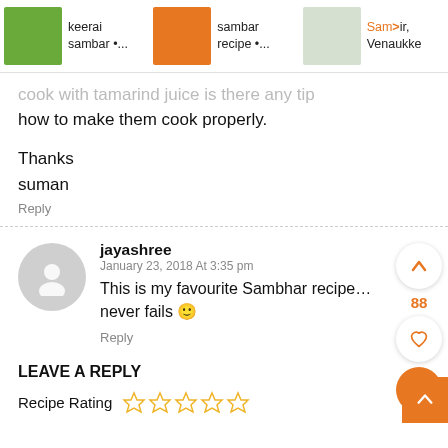keerai sambar •... | sambar recipe •... | Sambir, Venaukke
cook with tamarind juice is there any tip how to make them cook properly.
Thanks
suman
Reply
jayashree
January 23, 2018 At 3:35 pm
This is my favourite Sambhar recipe… never fails 🙂
Reply
LEAVE A REPLY
Recipe Rating ☆☆☆☆☆